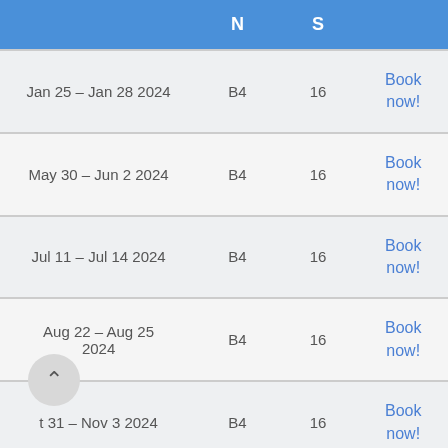|  | N | S |  |
| --- | --- | --- | --- |
| Jan 25 – Jan 28 2024 | B4 | 16 | Book now! |
| May 30 – Jun 2 2024 | B4 | 16 | Book now! |
| Jul 11 – Jul 14 2024 | B4 | 16 | Book now! |
| Aug 22 – Aug 25 2024 | B4 | 16 | Book now! |
| Oct 31 – Nov 3 2024 | B4 | 16 | Book now! |